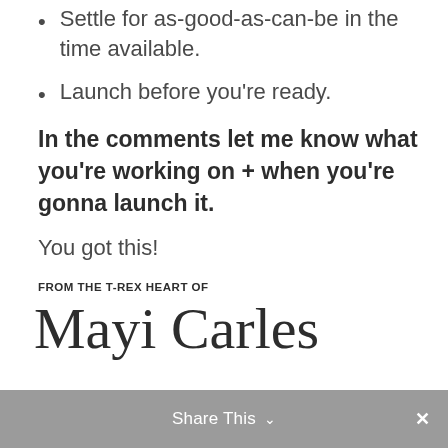Settle for as-good-as-can-be in the time available.
Launch before you're ready.
In the comments let me know what you're working on + when you're gonna launch it.
You got this!
FROM THE T-REX HEART OF
Mayi Carles
Share This  ×